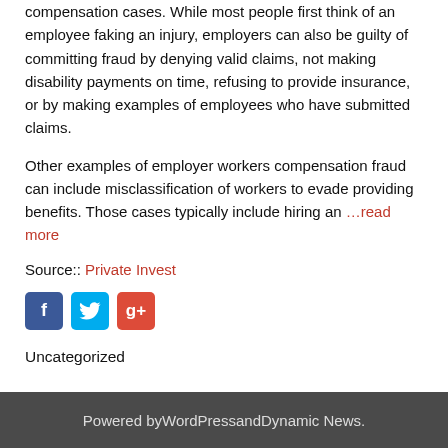compensation cases. While most people first think of an employee faking an injury, employers can also be guilty of committing fraud by denying valid claims, not making disability payments on time, refusing to provide insurance, or by making examples of employees who have submitted claims.
Other examples of employer workers compensation fraud can include misclassification of workers to evade providing benefits. Those cases typically include hiring an …read more
Source:: Private Invest
[Figure (illustration): Social media icons: Facebook (blue), Twitter (light blue), Google+ (red)]
Uncategorized
Powered by WordPress and Dynamic News.